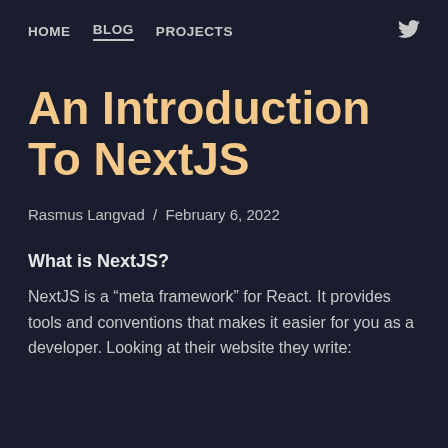HOME  BLOG  PROJECTS
An Introduction To NextJS
Rasmus Langvad  /  February 6, 2022
What is NextJS?
NextJS is a “meta framework” for React. It provides tools and conventions that makes it easier for you as a developer. Looking at their website they write: